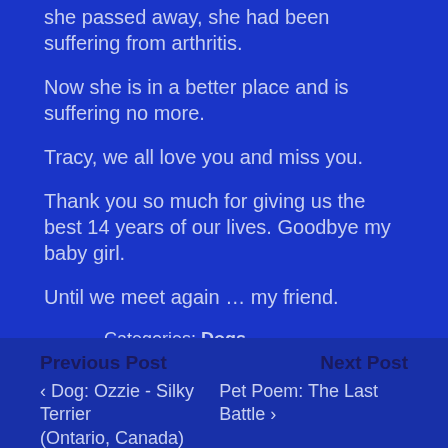she passed away, she had been suffering from arthritis.
Now she is in a better place and is suffering no more.
Tracy, we all love you and miss you.
Thank you so much for giving us the best 14 years of our lives. Goodbye my baby girl.
Until we meet again … my friend.
Categories: Dogs
Tags: dog memorial, Tracy dog
Previous Post
‹ Dog: Ozzie - Silky Terrier (Ontario, Canada)
Next Post
Pet Poem: The Last Battle ›